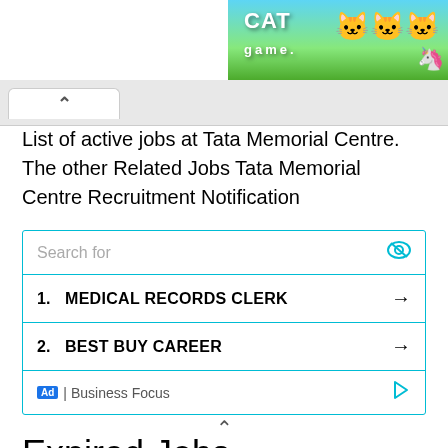[Figure (illustration): Cat Game advertisement banner with cartoon cats and colorful background, top right corner]
List of active jobs at Tata Memorial Centre. The other Related Jobs Tata Memorial Centre Recruitment Notification
[Figure (screenshot): Search box advertisement widget showing two items: 1. MEDICAL RECORDS CLERK with arrow, 2. BEST BUY CAREER with arrow, and Ad | Business Focus footer]
Expired Jobs
List of old jobs.